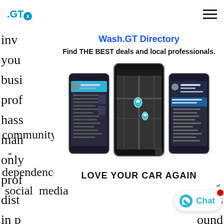.GT logo and hamburger menu
you ... ique
busi ... iling
prof ... and
hass ... cent
man ... that
only ... dual
prof ... very
dist ... ests
in p ... ound
[Figure (screenshot): Modal popup showing Wash.GT Directory with three phone screenshots showing the app interface with map and menu screens, tagline LOVE YOUR CAR AGAIN]
Lod ... way
for ... ocal
are...
community. Importantly, it also avoi...
dependence and pitfall of ever relying on social media
[Figure (screenshot): Chat button with WhatsApp icon in bottom right corner]